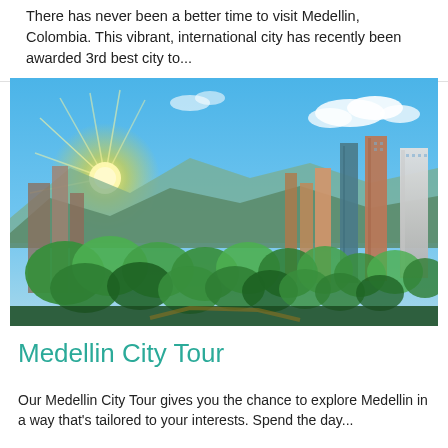There has never been a better time to visit Medellin, Colombia. This vibrant, international city has recently been awarded 3rd best city to...
[Figure (photo): Aerial/elevated view of Medellin, Colombia cityscape at sunset with green trees in foreground and tall modern buildings and mountains in background under blue sky]
Medellin City Tour
Our Medellin City Tour gives you the chance to explore Medellin in a way that's tailored to your interests. Spend the day...